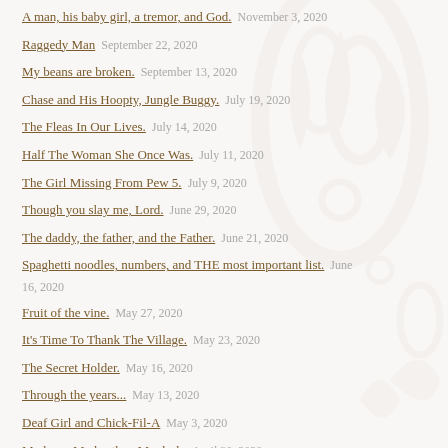A man, his baby girl, a tremor, and God. — November 3, 2020
Raggedy Man — September 22, 2020
My beans are broken. — September 13, 2020
Chase and His Hoopty, Jungle Buggy. — July 19, 2020
The Fleas In Our Lives. — July 14, 2020
Half The Woman She Once Was. — July 11, 2020
The Girl Missing From Pew 5. — July 9, 2020
Though you slay me, Lord. — June 29, 2020
The daddy, the father, and the Father. — June 21, 2020
Spaghetti noodles, numbers, and THE most important list. — June 16, 2020
Fruit of the vine. — May 27, 2020
It's Time To Thank The Village. — May 23, 2020
The Secret Holder. — May 16, 2020
Through the years... — May 13, 2020
Deaf Girl and Chick-Fil-A — May 3, 2020
My hero. My brother. My dash. — April 30, 2020
Second Chances....by Preston — April 24, 2020
Cherry Blossoms and Bibles. — April 19, 2020